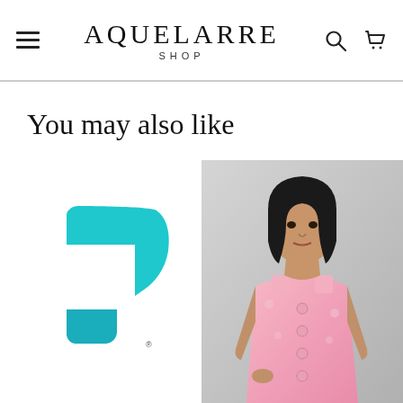AQUELARRE SHOP
You may also like
[Figure (logo): Hostinger teal/cyan logo mark - stylized letter H shape]
[Figure (photo): Young woman with dark hair and bangs wearing a pink floral brocade sleeveless top with buttons, against a light gray background]